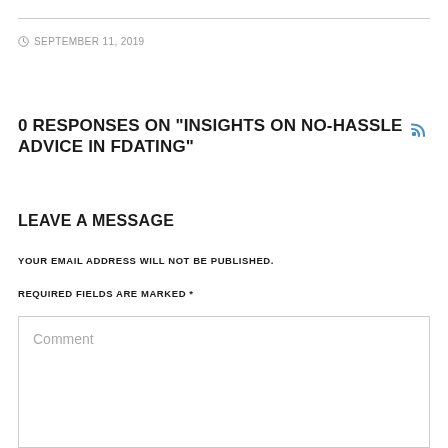SEPTEMBER 11, 2019
0 RESPONSES ON "INSIGHTS ON NO-HASSLE ADVICE IN FDATING"
LEAVE A MESSAGE
YOUR EMAIL ADDRESS WILL NOT BE PUBLISHED.
REQUIRED FIELDS ARE MARKED *
Comment